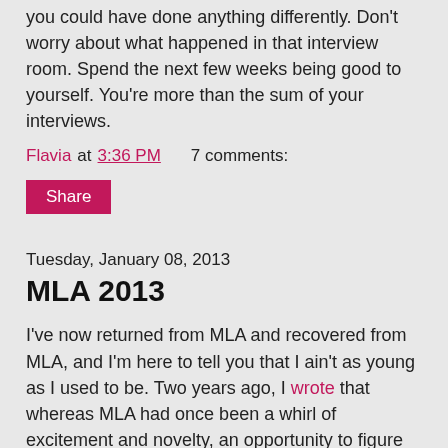you could have done anything differently. Don't worry about what happened in that interview room. Spend the next few weeks being good to yourself. You're more than the sum of your interviews.
Flavia at 3:36 PM    7 comments:
Share
Tuesday, January 08, 2013
MLA 2013
I've now returned from MLA and recovered from MLA, and I'm here to tell you that I ain't as young as I used to be. Two years ago, I wrote that whereas MLA had once been a whirl of excitement and novelty, an opportunity to figure out my place in the profession, it's now, increasingly, about my obligations to the profession. Since I was on a hiring committee this year, I was literally obliged to go and to sit in a hotel suite for fourteen interviews over two days--but when I speak of my professional obligations I mean something more expansive than that task, as well as something a bit